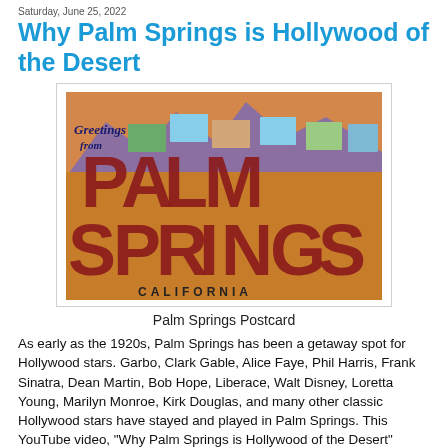Saturday, June 25, 2022
Why Palm Springs is Hollywood of the Desert
[Figure (photo): Vintage 'Greetings from Palm Springs, California' postcard with large illustrated letters containing scenic photographs of Palm Springs]
Palm Springs Postcard
As early as the 1920s, Palm Springs has been a getaway spot for Hollywood stars. Garbo, Clark Gable, Alice Faye, Phil Harris, Frank Sinatra, Dean Martin, Bob Hope, Liberace, Walt Disney, Loretta Young, Marilyn Monroe, Kirk Douglas, and many other classic Hollywood stars have stayed and played in Palm Springs. This YouTube video, "Why Palm Springs is Hollywood of the Desert" highlights of Pal...